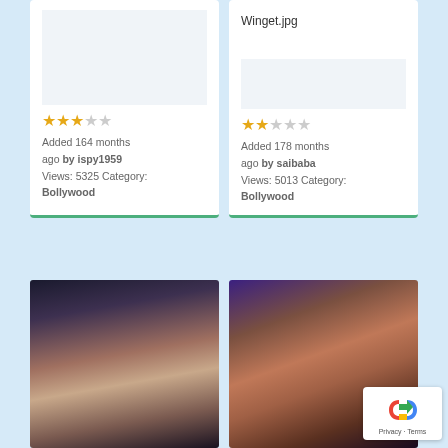[Figure (screenshot): Top portion of two image cards partially visible. Left card shows blank white image area. Right card shows text 'Winget.jpg' as title.]
Winget.jpg
★★★☆☆ Added 164 months ago by ispy1959 Views: 5325 Category: Bollywood
★★☆☆☆ Added 178 months ago by saibaba Views: 5013 Category: Bollywood
[Figure (photo): Photo of a young woman with long dark hair, wearing dark clothing with blue accents, earrings visible, smiling at camera.]
[Figure (photo): Photo of a woman with long brown hair, wearing a dark top, posed against a purple/blue background.]
[Figure (other): reCAPTCHA badge with Privacy and Terms links.]